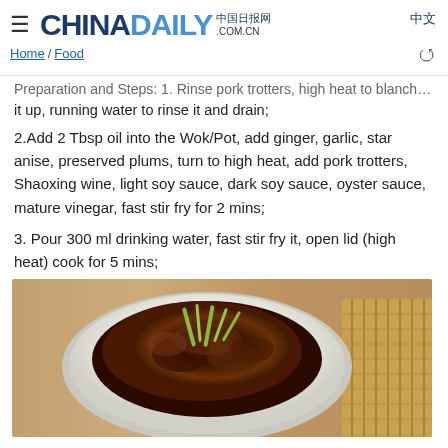China Daily .com.cn 中国日报网 中文
Home / Food
Preparation and Steps: 1. Rinse pork trotters, high heat to blanch for 10 mins, pick it up, running water to rinse it and drain;
2.Add 2 Tbsp oil into the Wok/Pot, add ginger, garlic, star anise, preserved plums, turn to high heat, add pork trotters, Shaoxing wine, light soy sauce, dark soy sauce, oyster sauce, mature vinegar, fast stir fry for 2 mins;
3. Pour 300 ml drinking water, fast stir fry it, open lid (high heat) cook for 5 mins;
[Figure (photo): A white plate with braised pork trotters garnished with green onion strips, placed on a wooden surface with a bamboo mat visible on the right side.]